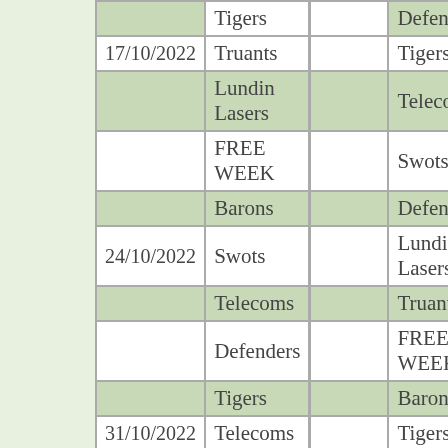| Date | Team 1 |  | Team 2 |  |
| --- | --- | --- | --- | --- |
|  | Tigers |  | Defenders |  |
| 17/10/2022 | Truants |  | Tigers |  |
|  | Lundin Lasers |  | Telecoms |  |
|  | FREE WEEK |  | Swots |  |
|  | Barons |  | Defenders |  |
| 24/10/2022 | Swots |  | Lundin Lasers |  |
|  | Telecoms |  | Truants |  |
|  | Defenders |  | FREE WEEK |  |
|  | Tigers |  | Barons |  |
| 31/10/2022 | Telecoms |  | Tigers |  |
|  | Truants |  | Swots |  |
|  | Lundin Lasers |  | Defenders |  |
|  | FREE WEEK |  | Barons |  |
| 07/11/2022 | Swots |  | Telecoms |  |
|  | Lundin... |  |  |  |